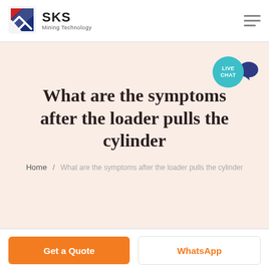SKS Mining Technology
[Figure (logo): SKS Mining Technology logo with red and blue angular S icon]
[Figure (infographic): Live Chat bubble icon in teal/cyan with speech bubble]
What are the symptoms after the loader pulls the cylinder
Home / What are the symptoms after the loader pulls the cylinder
Get a Quote
WhatsApp